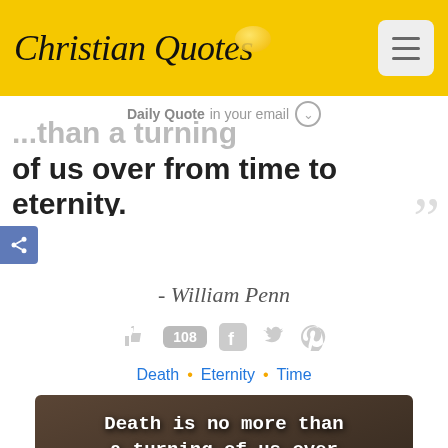Christian Quotes
Daily Quote in your email
...more than a turning of us over from time to eternity.
- William Penn
108
Death • Eternity • Time
[Figure (photo): Dark sepia-toned image with white bold text reading: Death is no more than a turning of us over from time to eternity.]